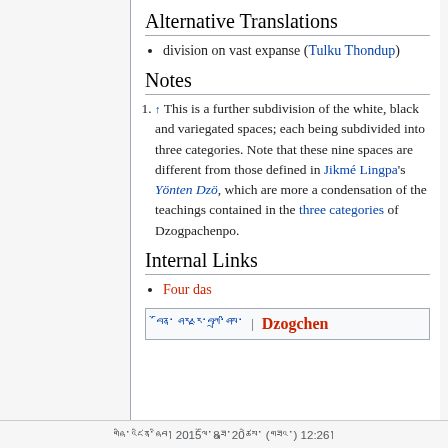Alternative Translations
division on vast expanse (Tulku Thondup)
Notes
↑ This is a further subdivision of the white, black and variegated spaces; each being subdivided into three categories. Note that these nine spaces are different from those defined in Jikmé Lingpa's Yönten Dzö, which are more a condensation of the teachings contained in the three categories of Dzogpachenpo.
Internal Links
Four das
| བོན་ ཤར་རྫ་བཀྲ་ཤིས་ | Dzogchen |
གཞི་འཛིན་ཞིབ། 2015ལོ་8ཟླ་20ཚེས་ (གཟའ་) 12:26།